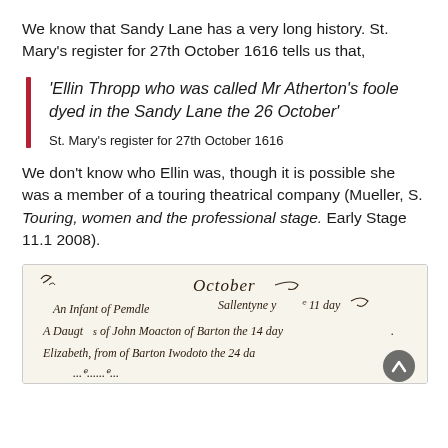We know that Sandy Lane has a very long history. St. Mary’s register for 27th October 1616 tells us that,
‘Ellin Thropp who was called Mr Atherton’s foole dyed in the Sandy Lane the 26 October’
St. Mary’s register for 27th October 1616
We don’t know who Ellin was, though it is possible she was a member of a touring theatrical company (Mueller, S. Touring, women and the professional stage. Early Stage 11.1 2008).
[Figure (photo): A photograph of an old handwritten manuscript page from the 17th century showing entries written in Secretary hand, including the word 'October' and several entries about individuals including references to Barton.]